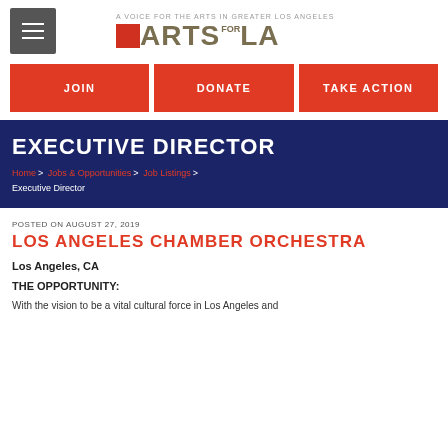A VOICE FOR THE ARTS IN GREATER LOS ANGELES | ARTS FOR LA
JOIN | DONATE | TAKE ACTION
EXECUTIVE DIRECTOR
Home > Jobs & Opportunities > Job Listings > Executive Director
POSTED ON AUGUST 27, 2019
LOS ANGELES CHAMBER ORCHESTRA
Los Angeles, CA
THE OPPORTUNITY:
With the vision to be a vital cultural force in Los Angeles and